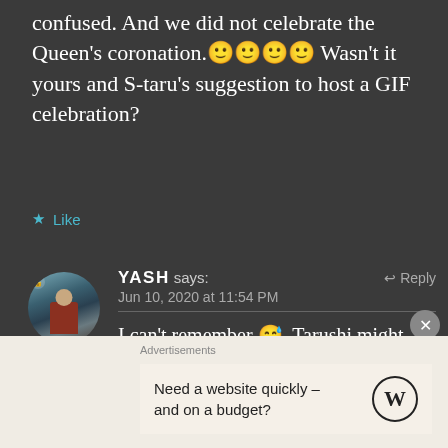confused. And we did not celebrate the Queen's coronation.🙂🙂🙂🙂 Wasn't it yours and S-taru's suggestion to host a GIF celebration?
★ Like
YASH says: Jun 10, 2020 at 11:54 PM
I can't remember 😅. Tarushi might have said that😊😊
Advertisements
Need a website quickly – and on a budget?